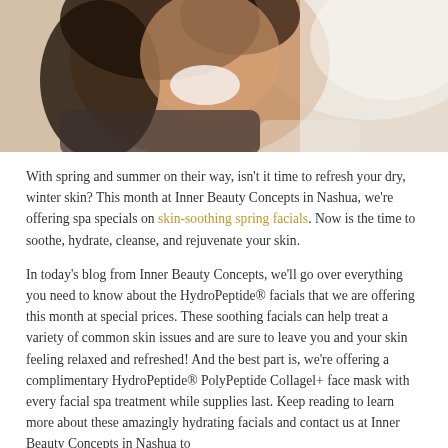[Figure (photo): Smiling woman with dark hair, head tilted, wearing a dark tank top against a bright background]
With spring and summer on their way, isn't it time to refresh your dry, winter skin? This month at Inner Beauty Concepts in Nashua, we're offering spa specials on skin-soothing spring facials. Now is the time to soothe, hydrate, cleanse, and rejuvenate your skin.
In today's blog from Inner Beauty Concepts, we'll go over everything you need to know about the HydroPeptide® facials that we are offering this month at special prices. These soothing facials can help treat a variety of common skin issues and are sure to leave you and your skin feeling relaxed and refreshed! And the best part is, we're offering a complimentary HydroPeptide® PolyPeptide Collagel+ face mask with every facial spa treatment while supplies last. Keep reading to learn more about these amazingly hydrating facials and contact us at Inner Beauty Concepts in Nashua to